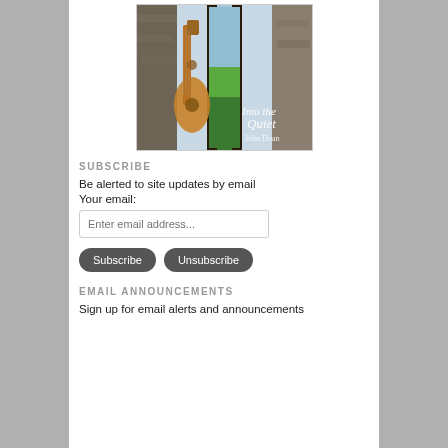[Figure (photo): Album cover for 'Into the Quiet' by John Doan, showing a mandolin/harp guitar leaning against a stone wall with a doorway opening to a green landscape and sea, with italic white text reading 'Into the Quiet' and 'John Doan']
SUBSCRIBE
Be alerted to site updates by email
Your email:
Enter email address...
Subscribe   Unsubscribe
EMAIL ANNOUNCEMENTS
Sign up for email alerts and announcements